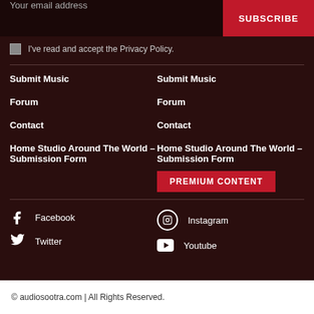Your email address
SUBSCRIBE
I've read and accept the Privacy Policy.
Submit Music
Forum
Contact
Home Studio Around The World – Submission Form
Submit Music
Forum
Contact
Home Studio Around The World – Submission Form
PREMIUM CONTENT
Facebook
Instagram
Twitter
Youtube
© audiosootra.com | All Rights Reserved.